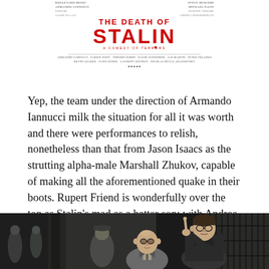[Figure (illustration): Movie poster for 'The Death of Stalin - A Comedy of Terrors' showing title text in large red bold letters with cast credits in small text above and below]
Yep, the team under the direction of Armando Iannucci milk the situation for all it was worth and there were performances to relish, nonetheless than that from Jason Isaacs as the strutting alpha-male Marshall Zhukov, capable of making all the aforementioned quake in their boots. Rupert Friend is wonderfully over the top as Stalin's mad as a hatter son; with Andrea Riseborough as his very, very worried daughter.
[Figure (photo): Movie still from The Death of Stalin showing several men in period Soviet-era clothing, two main characters in the foreground with one pointing a finger, ornate iron gate visible in background]